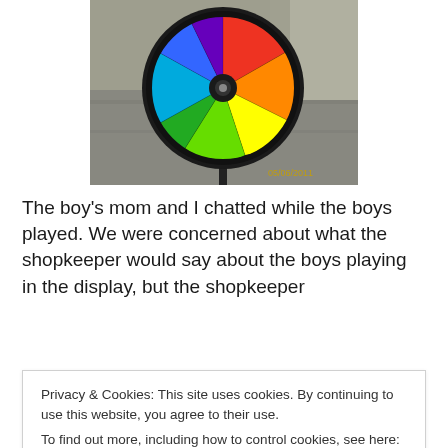[Figure (photo): A colorful rainbow pinwheel/wind spinner mounted on a black stake, photographed outdoors near a concrete surface. The wheel has segments in red, orange, yellow, green, blue, and purple with a black circular frame. A date stamp '05/06/2011' is visible in the lower right corner of the photo.]
The boy's mom and I chatted while the boys played. We were concerned about what the shopkeeper would say about the boys playing in the display, but the shopkeeper
Privacy & Cookies: This site uses cookies. By continuing to use this website, you agree to their use.
To find out more, including how to control cookies, see here: Cookie Policy
[Close and accept]
A God in the Ordinary moment: two little boys, strangers,